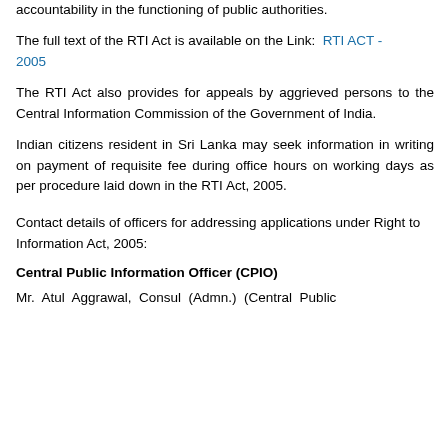accountability in the functioning of public authorities.
The full text of the RTI Act is available on the Link:  RTI ACT - 2005
The RTI Act also provides for appeals by aggrieved persons to the Central Information Commission of the Government of India.
Indian citizens resident in Sri Lanka may seek information in writing on payment of requisite fee during office hours on working days as per procedure laid down in the RTI Act, 2005.
Contact details of officers for addressing applications under Right to Information Act, 2005:
Central Public Information Officer (CPIO)
Mr. Atul Aggrawal, Consul (Admn.) (Central Public